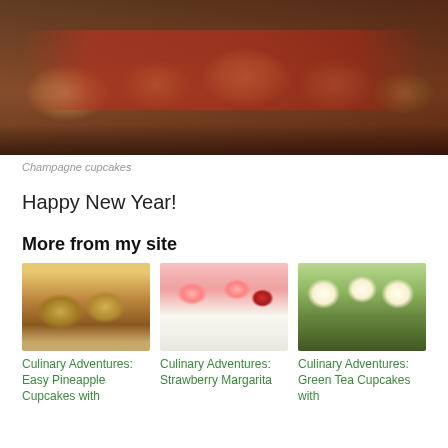[Figure (photo): Close-up photo of champagne cupcakes in metallic/dark baking tins against a red backdrop]
Champagne cupcakes
Happy New Year!
More from my site
[Figure (photo): Thumbnail photo of Easy Pineapple Cupcakes with crumble topping]
[Figure (photo): Thumbnail photo of Strawberry Margarita cupcakes on a white plate with pink frosting and fresh strawberries]
[Figure (photo): Thumbnail photo of Green Tea Cupcakes with white cream swirls in green polka-dot liners]
Culinary Adventures: Easy Pineapple Cupcakes with
Culinary Adventures: Strawberry Margarita
Culinary Adventures: Green Tea Cupcakes with